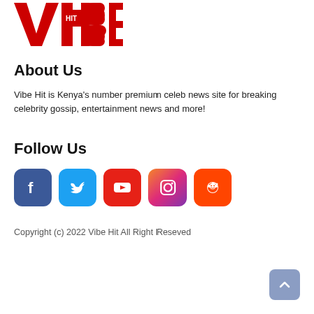[Figure (logo): Vibe Hit logo in red block letters with HIT in small text inside]
About Us
Vibe Hit is Kenya's number premium celeb news site for breaking celebrity gossip, entertainment news and more!
Follow Us
[Figure (infographic): Row of social media icons: Facebook, Twitter, YouTube, Instagram, Reddit]
Copyright (c) 2022 Vibe Hit All Right Reseved